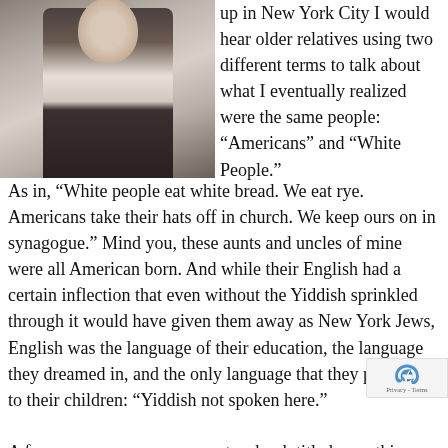[Figure (photo): Black and white photograph of a person, partially visible, showing upper body]
up in New York City I would hear older relatives using two different terms to talk about what I eventually realized were the same people: “Americans” and “White People.” As in, “White people eat white bread. We eat rye. Americans take their hats off in church. We keep ours on in synagogue.” Mind you, these aunts and uncles of mine were all American born. And while their English had a certain inflection that even without the Yiddish sprinkled through it would have given them away as New York Jews, English was the language of their education, the language they dreamed in, and the only language that they passed on to their children: “Yiddish not spoken here.”

A few years ago someone wrote a book titled something like, How the Jews Became White. While I’ve never read it I can only imagine that the author’s conclusion was similar to mine: at a time in the middle of the last century, when the dominant culture decided to consider the possibility that “Negroes” were